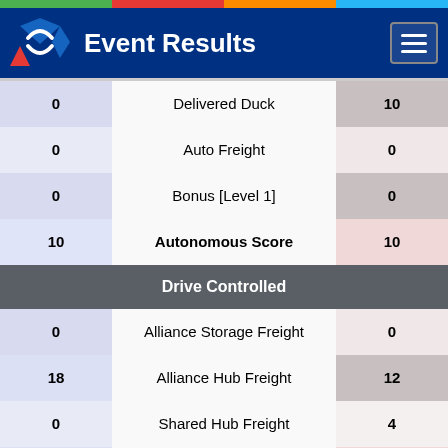Event Results
| Left Score | Category | Right Score |
| --- | --- | --- |
| 0 | Delivered Duck | 10 |
| 0 | Auto Freight | 0 |
| 0 | Bonus [Level 1] | 0 |
| 10 | Autonomous Score | 10 |
|  | Drive Controlled |  |
| 0 | Alliance Storage Freight | 0 |
| 18 | Alliance Hub Freight | 12 |
| 0 | Shared Hub Freight | 4 |
| 18 | Driver Controlled Score | 16 |
|  | Autonomous |  |
| 30 | Duck/Team Delivered | 6 |